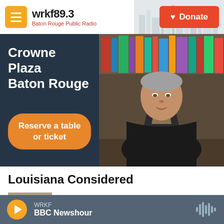wrkf89.3 Baton Rouge Public Radio | Donate
[Figure (photo): Advertisement banner for Crowne Plaza Baton Rouge event with text 'Crowne Plaza Baton Rouge' and 'Reserve a table or ticket' button, alongside a photo of an older man seated with hands clasped in front of bookshelves]
Louisiana Considered
17 years after Hurricane Katrina, a
WRKF | BBC Newshour